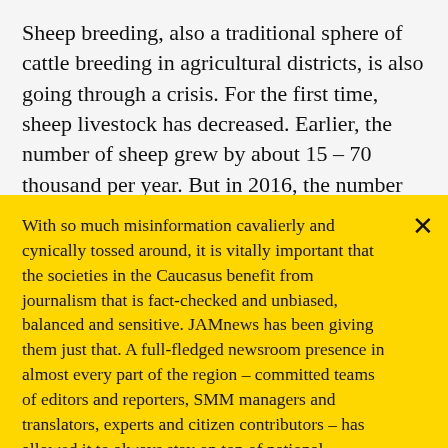Sheep breeding, also a traditional sphere of cattle breeding in agricultural districts, is also going through a crisis. For the first time, sheep livestock has decreased. Earlier, the number of sheep grew by about 15 – 70 thousand per year. But in 2016, the number of sheep decreased by 62.2 thousand.
With so much misinformation cavalierly and cynically tossed around, it is vitally important that the societies in the Caucasus benefit from journalism that is fact-checked and unbiased, balanced and sensitive. JAMnews has been giving them just that. A full-fledged newsroom presence in almost every part of the region – committed teams of editors and reporters, SMM managers and translators, experts and citizen contributors – has allowed it to always stay on top of national breaking news stories, while also keeping an eye on the not so obvious, but none the less important, issues and trends that are overlooked by others. Now, we all need your support if we are to keep the
Support JAMnews →